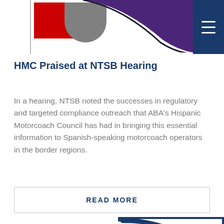[Figure (logo): ABA website header banner with red rectangle, gray shape, purple swoosh, and dark blue hamburger menu button on the right]
HMC Praised at NTSB Hearing
In a hearing, NTSB noted the successes in regulatory and targeted compliance outreach that ABA's Hispanic Motorcoach Council has had in bringing this essential information to Spanish-speaking motorcoach operators in the border regions.
READ MORE
[Figure (logo): ABA (American Bus Association) logo — large red italic letters 'ABA' with a dark blue curved swoosh/arc on the right side]